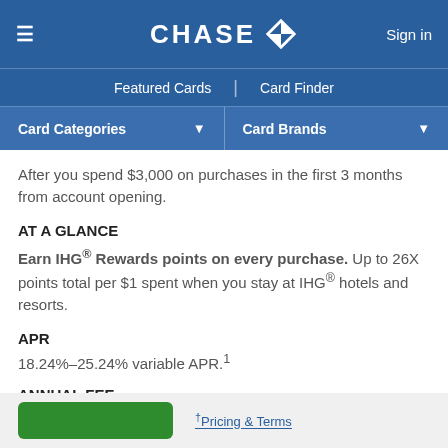CHASE — Sign in
Featured Cards | Card Finder
Card Categories ▾  Card Brands ▾
After you spend $3,000 on purchases in the first 3 months from account opening.
AT A GLANCE
Earn IHG® Rewards points on every purchase. Up to 26X points total per $1 spent when you stay at IHG® hotels and resorts.
APR
18.24%–25.24% variable APR.1
ANNUAL FEE
$991
†Pricing & Terms